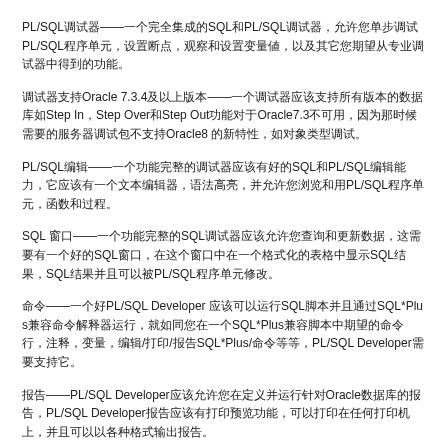PL/SQL调试器——一个完全集成的SQL和PL/SQL调试器，允许您单步调试PL/SQL程序单元，设置断点，观察和设置变量值，以及其它您期望从专业调试器中得到的功能。
调试器支持Oracle 7.3.4及以上版本——一个调试器应该支持所有版本的数据库如Step In，Step Over和Step Out功能对于Oracle7.3不可用，因为那时候需要的服务器调试包不支持Oracle8 的新特性，如对象类型调试。
PL/SQL编辑——一个功能完整的调试器应该有好的SQL和PL/SQL编辑能力，它应该有一个文本编辑器，语法高亮，并允许您浏览和用PL/SQL程序单元，函数和过程。
SQL 窗口——一个功能完整的SQL调试器应该允许您查询和更新数据，这需要有一个好的SQL窗口，在这个窗口中在一个格式化的表格中显示SQL结果，SQL结果并且可以被PL/SQL程序单元修改。
命令——一个好PL/SQL Developer 应该可以运行SQL脚本并且通过SQL*Plus兼容命令解释器运行，就如同您在一个SQL*Plus兼容脚本中期望的命令行，注释，变量，编辑/打印/报告SQL*Plus/命令等等，PL/SQL Developer 需要支持它。
报告——PL/SQL Developer应该允许您在定义并运行针对Oracle数据库的报告，PL/SQL Developer报告应该有打印预览功能，可以打印在任何打印机上，并且可以以各种格式输出报告。